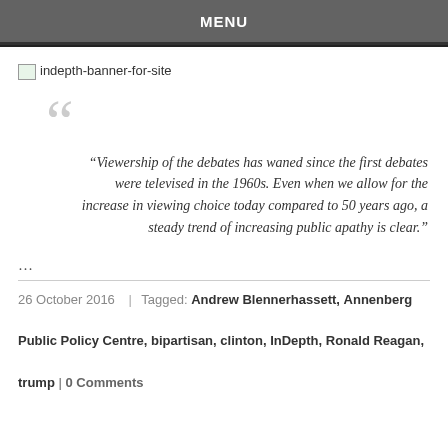MENU
[Figure (illustration): Broken image placeholder for indepth-banner-for-site]
“Viewership of the debates has waned since the first debates were televised in the 1960s. Even when we allow for the increase in viewing choice today compared to 50 years ago, a steady trend of increasing public apathy is clear.”
…
26 October 2016 | Tagged: Andrew Blennerhassett, Annenberg Public Policy Centre, bipartisan, clinton, InDepth, Ronald Reagan, trump | 0 Comments